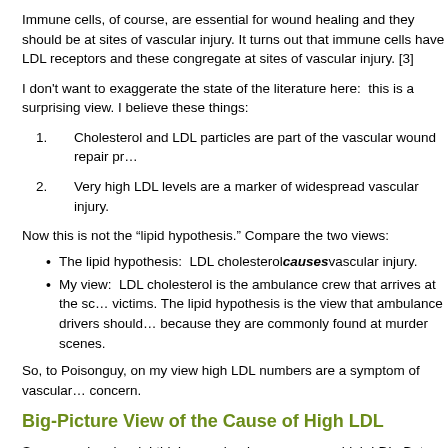Immune cells, of course, are essential for wound healing and they should be at sites of vascular injury. It turns out that immune cells have LDL receptors and these congregate at sites of vascular injury. [3]
I don't want to exaggerate the state of the literature here: this is a surprising view. I believe these things:
1. Cholesterol and LDL particles are part of the vascular wound repair process.
2. Very high LDL levels are a marker of widespread vascular injury.
Now this is not the “lipid hypothesis.” Compare the two views:
The lipid hypothesis: LDL cholesterol causes vascular injury.
My view: LDL cholesterol is the ambulance crew that arrives at the scene to help victims. The lipid hypothesis is the view that ambulance drivers should be jailed because they are commonly found at murder scenes.
So, to Poisonguy, on my view high LDL numbers are a symptom of vascular concern.
Big-Picture View of the Cause of High LDL
So, on a micro-level, I think vascular damage causes high LDL. But what ca